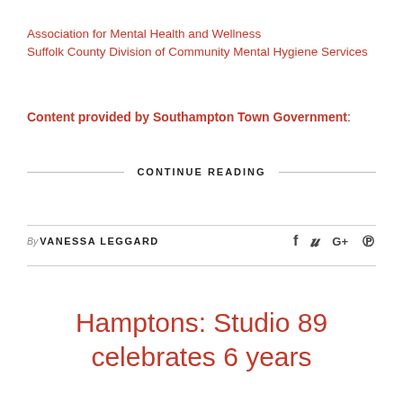Association for Mental Health and Wellness
Suffolk County Division of Community Mental Hygiene Services
Content provided by Southampton Town Government:
CONTINUE READING
By VANESSA LEGGARD
Hamptons: Studio 89 celebrates 6 years